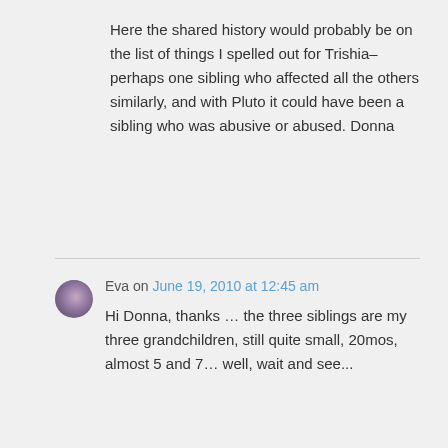Here the shared history would probably be on the list of things I spelled out for Trishia–perhaps one sibling who affected all the others similarly, and with Pluto it could have been a sibling who was abusive or abused. Donna
Eva on June 19, 2010 at 12:45 am
Hi Donna, thanks … the three siblings are my three grandchildren, still quite small, 20mos, almost 5 and 7… well, wait and see...